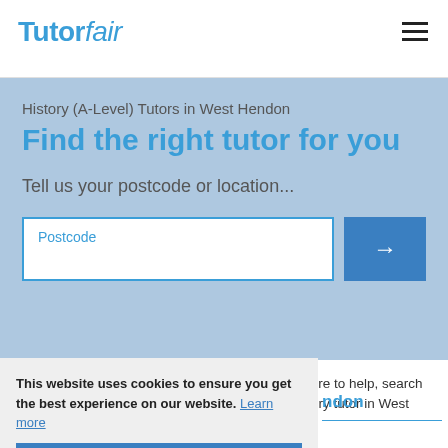[Figure (logo): TutorFair logo in blue with italic 'fair']
History (A-Level) Tutors in West Hendon
Find the right tutor for you
Tell us your postcode or location...
Postcode
Our A-Level History tutors in West Hendon are here to help, search using your postcode to find the best A-Level History tutor in West Hendon.
This website uses cookies to ensure you get the best experience on our website.  Learn more
Got it!
ndon
Mylan K